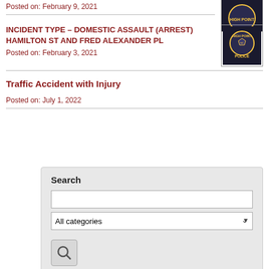Posted on: February 9, 2021
[Figure (photo): High Point Police badge/patch (partial, cut off at top)]
INCIDENT TYPE – DOMESTIC ASSAULT (ARREST) HAMILTON ST AND FRED ALEXANDER PL
[Figure (photo): High Point Police badge/patch logo]
Posted on: February 3, 2021
Traffic Accident with Injury
Posted on: July 1, 2022
Search
Tools
RSS
Notify Me